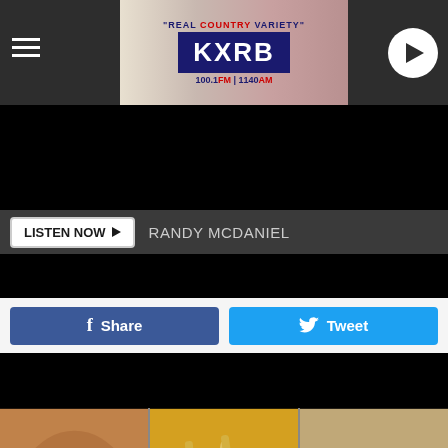[Figure (screenshot): KXRB radio station website header with logo saying 'REAL COUNTRY VARIETY' KXRB 100.1 FM | 1140 AM, hamburger menu icon on left, play button on right]
LISTEN NOW ▶  RANDY MCDANIEL
f Share
Tweet
[Figure (photo): Three food photos side by side: left shows fried chicken bites with ranch dipping sauce, center shows loaded cheese fries with bacon and green onions, right shows twice-baked potatoes with cream cheese topping and chives]